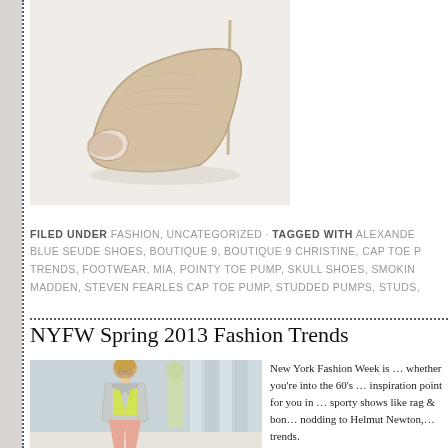[Figure (photo): Nude/beige high-heel mule sandal shoe on white background]
FILED UNDER FASHION, UNCATEGORIZED · TAGGED WITH ALEXANDER, BLUE SEUDE SHOES, BOUTIQUE 9, BOUTIQUE 9 CHRISTINE, CAP TOE P…, TRENDS, FOOTWEAR, MIA, POINTY TOE PUMP, SKULL SHOES, SMOKING…, MADDEN, STEVEN FEARLES CAP TOE PUMP, STUDDED PUMPS, STUDS,…
NYFW Spring 2013 Fashion Trends
[Figure (photo): Female model on runway wearing neon yellow top, silver jacket, and pink/salmon trousers]
New York Fashion Week is … whether you're into the 60's … inspiration point for you in … sporty shows like rag & bon… nodding to Helmut Newton,… trends.